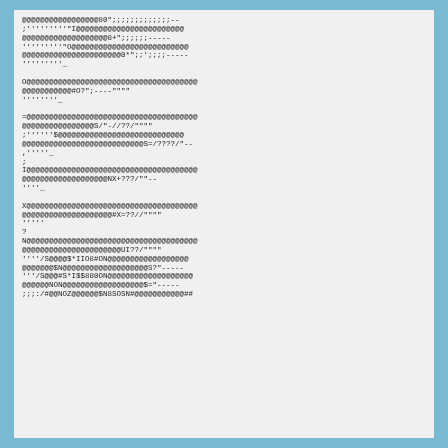@@@@@@@@@@@@@@@@@80";;;;;;;;;;;;;--
;'''''''''"I@@@@@@@@@@@@@@@@@@@@@@@@
@@@@@@@@@@@@@@@@@@@8+";;;;;;-----
'''''''''"O@@@@@@@@@@@@@@@@@@@@@@@@@@
@@@@@@@@@@@@@@@@@@@@@@0*";;\';;;;-----
'''''''''\_

O@@@@@@@@@@@@@@@@@@@@@@@@@@@@@@@@@@@@@@
@@@@@@@@@@@#O?";----""""
''''''''\_

=@@@@@@@@@@@@@@@@@@@@@@@@@@@@@@@@@@@@@@
@@@@@@@@@@@@@@@@S/"-//??/""""
;''''''$@@@@@@@@@@@@@@@@@@@@@@@@@@@@
@@@@@@@@@@@@@@@@@@@@@@@@@@@S=/????/"--
,'''''\_
;
I@@@@@@@@@@@@@@@@@@@@@@@@@@@@@@@@@@@@@@
@@@@@@@@@@@@@@@@@@@NX+???/""--
''''\_

X@@@@@@@@@@@@@@@@@@@@@@@@@@@@@@@@@@@@@@
@@@@@@@@@@@@@@@@@@@@#X=??//""""
'''''
?
N@@@@@@@@@@@@@@@@@@@@@@@@@@@@@@@@@@@@@@
@@@@@@@@@@@@@@@@@@@@@@UI??/""""
''''/S@@@@$*IIO8#ON@@@@@@@@@@@@@@@@@@
@@@@@@@$N@@@@@@@@@@@@@@@@@@@S?"----- 
'''/S@@@#S*I$$880ON@@@@@@@@@@@@@@@@@@@
@@@@@@NON@@@@@@@@@@@@@@@@@@$="-----
;;;:/#@@NOZ@@@@@@$N8SOSN#@@@@@@@@@@@##